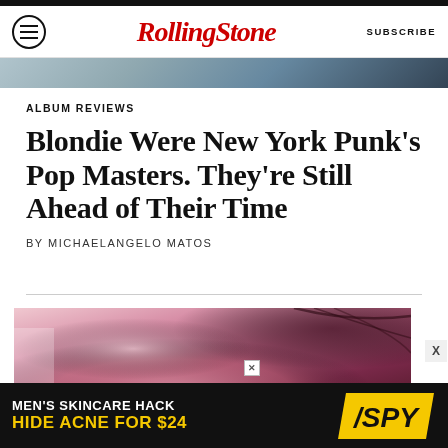Rolling Stone — SUBSCRIBE
ALBUM REVIEWS
Blondie Were New York Punk's Pop Masters. They're Still Ahead of Their Time
BY MICHAELANGELO MATOS
[Figure (photo): Close-up photo of a woman with dark hair blowing, set against a pink/red background]
[Figure (infographic): Advertisement: MEN'S SKINCARE HACK — HIDE ACNE FOR $24, SPY logo]